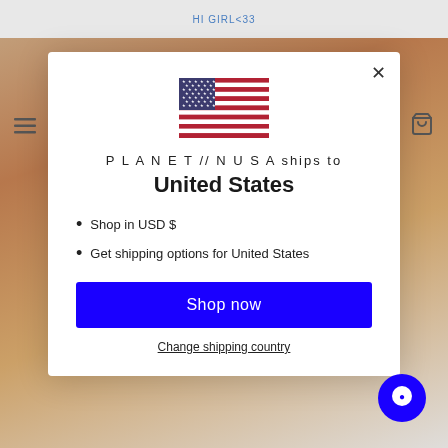HI GIRL<33
[Figure (screenshot): A modal dialog overlay on a website showing a country/shipping selector. Background shows an orange/textured product photograph. The modal is white with a US flag, text about shipping to United States, bullet points, a blue Shop now button, and a Change shipping country link.]
P L A N E T // N U S A ships to
United States
Shop in USD $
Get shipping options for United States
Shop now
Change shipping country